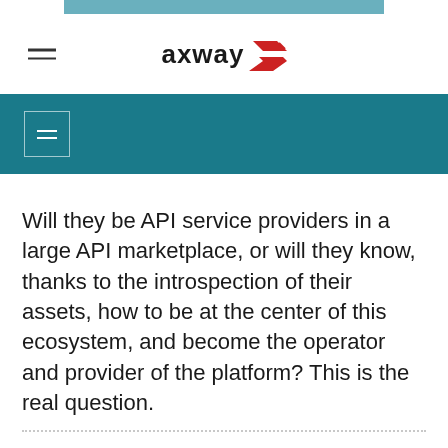axway
Will they be API service providers in a large API marketplace, or will they know, thanks to the introspection of their assets, how to be at the center of this ecosystem, and become the operator and provider of the platform? This is the real question.